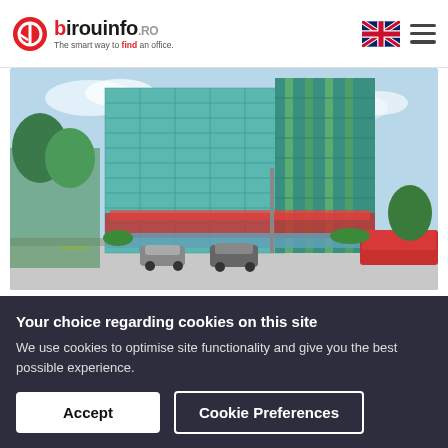birouinfo.ro — The smart way to find an office.
[Figure (photo): Exterior photo of a tall modern glass office building (Green Court) with teal/green facade and vertical garden elements, set in an urban environment with cars and trees visible.]
Flexible workspace in Regus Gree...
Bld. Tmisoara
Your choice regarding cookies on this site
We use cookies to optimise site functionality and give you the best possible experience.
Accept
Cookie Preferences